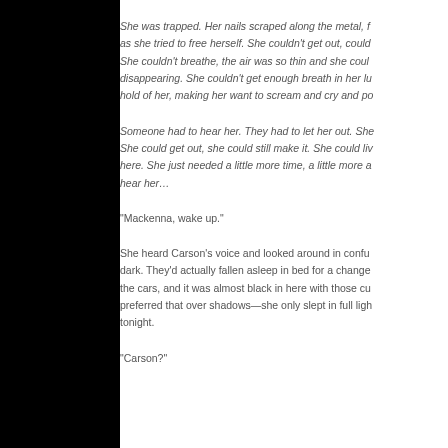She was trapped. Her nails scraped along the metal, f as she tried to free herself. She couldn't get out, could She couldn't breathe, the air was so thin and she coul disappearing. She couldn't get enough breath in her lu hold of her, making her want to scream and cry and po
Someone had to hear her. They had to let her out. She She could get out, she could still make it. She could li here. She just needed a little more time, a little more a hear her…
“Mackenna, wake up.”
She heard Carson’s voice and looked around in confu dark. They’d actually fallen asleep in bed for a change the cars, and it was almost black in here with those cu preferred that over shadows—she only slept in full ligh tonight.
“Carson?”